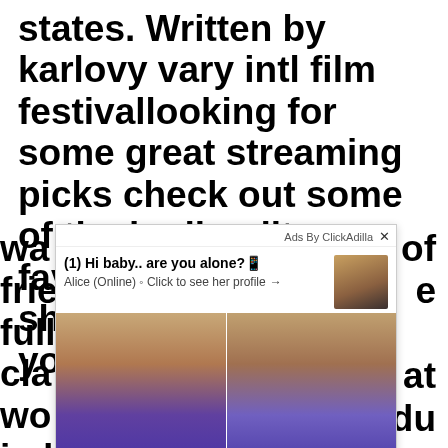states. Written by karlovy vary intl film festivallooking for some great streaming picks check out some of the imdb editors favorites movies and shows to round out your wa... of frie... e full... cla... at wo... jad... bea... du sit...
[Figure (screenshot): An advertisement overlay from ClickAdilla showing a chat message '(1) Hi baby.. are you alone?' from 'Alice (Online)' with two photos of a woman in a blue bikini.]